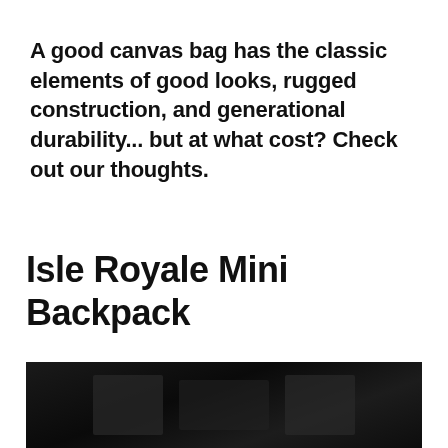A good canvas bag has the classic elements of good looks, rugged construction, and generational durability... but at what cost? Check out our thoughts.
Isle Royale Mini Backpack
[Figure (photo): A dark/black photograph showing what appears to be a canvas backpack in very low lighting conditions]